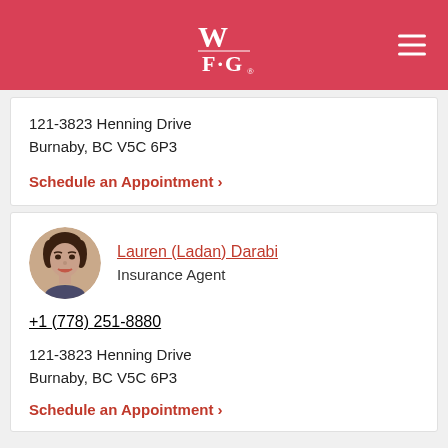[Figure (logo): WFG (World Financial Group) logo in white on red header background]
121-3823 Henning Drive
Burnaby, BC V5C 6P3
Schedule an Appointment >
Lauren (Ladan) Darabi
Insurance Agent
+1 (778) 251-8880
121-3823 Henning Drive
Burnaby, BC V5C 6P3
Schedule an Appointment >